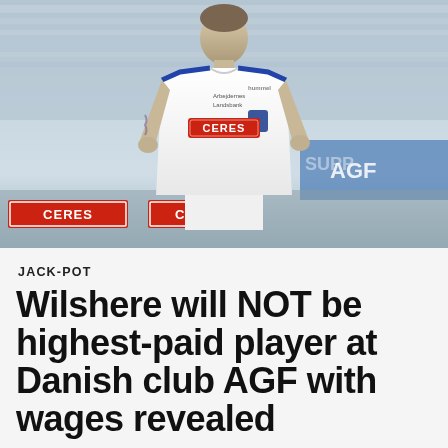[Figure (photo): Football player wearing a white AGF jersey with CERES sponsor logo, standing in front of a packed stadium crowd with CERES advertising boards visible in the background.]
JACK-POT
Wilshere will NOT be highest-paid player at Danish club AGF with wages revealed